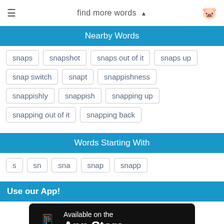find more words
Nearby Words
snaps
snapshot
snaps out of it
snaps up
snap switch
snapt
snappishness
snappishly
snappish
snapping up
snapping out of it
snapping back
Words Starting With
s
sn
sna
snap
snapp
Use our App!
Available on the App Store